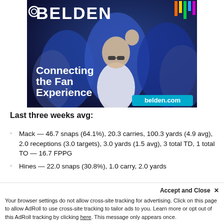[Figure (photo): Belden advertisement banner showing sports fans celebrating with text 'Connecting the Fan Experience' and 'belden.com']
Last three weeks avg:
Mack — 46.7 snaps (64.1%), 20.3 carries, 100.3 yards (4.9 avg), 2.0 receptions (3.0 targets), 3.0 yards (1.5 avg), 3 total TD, 1 total TO — 16.7 FPPG
Hines — 22.0 snaps (30.8%), 1.0 carry, 2.0 yards
Accept and Close ✕ Your browser settings do not allow cross-site tracking for advertising. Click on this page to allow AdRoll to use cross-site tracking to tailor ads to you. Learn more or opt out of this AdRoll tracking by clicking here. This message only appears once.